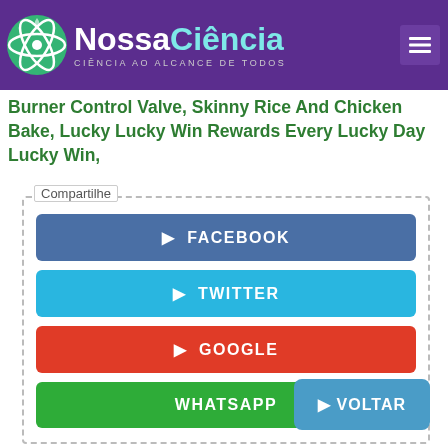NossaCiência — CIÊNCIA AO ALCANCE DE TODOS
Burner Control Valve, Skinny Rice And Chicken Bake, Lucky Lucky Win Rewards Every Lucky Day Lucky Win,
Compartilhe
FACEBOOK
TWITTER
GOOGLE
WHATSAPP
VOLTAR